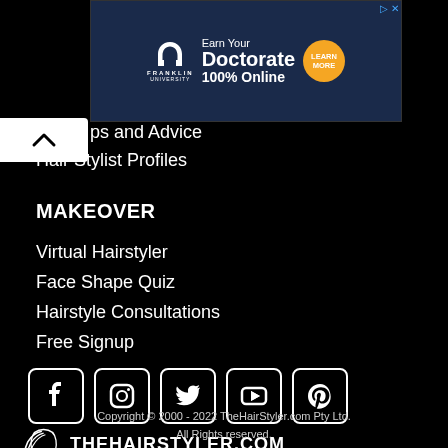[Figure (screenshot): Franklin University advertisement banner: Earn Your Doctorate 100% Online with Learn More button]
ps and Advice
Hair Stylist Profiles
MAKEOVER
Virtual Hairstyler
Face Shape Quiz
Hairstyle Consultations
Free Signup
[Figure (illustration): Social media icons: Facebook, Instagram, Twitter, YouTube, Pinterest]
[Figure (logo): TheHairStyler.com logo - Find Your Perfect Hairstyle]
Copyright © 2000 - 2022 TheHairStyler.com Pty Ltd. All Rights reserved.